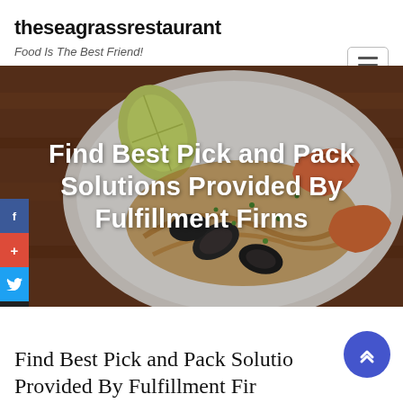theseagrassrestaurant
Food Is The Best Friend!
[Figure (photo): Hero banner image of seafood dish (shrimp, mussels, with lemon) served on a white plate on a wooden table, with large white bold text overlay reading 'Find Best Pick and Pack Solutions Provided By Fulfillment Firms']
Find Best Pick and Pack Solutions Provided By Fulfillment Firms